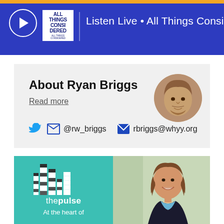Listen Live • All Things Considered
About Ryan Briggs
Read more
@rw_briggs   rbriggs@whyy.org
[Figure (photo): Circular portrait photo of Ryan Briggs, a man with reddish-brown hair and beard]
[Figure (logo): The Pulse podcast banner with teal background, equalizer bar logo, text 'thepulse' and 'At the heart of', alongside a photo of a smiling woman in a blazer]